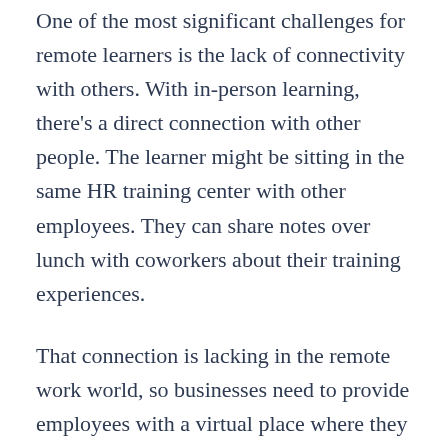One of the most significant challenges for remote learners is the lack of connectivity with others. With in-person learning, there's a direct connection with other people. The learner might be sitting in the same HR training center with other employees. They can share notes over lunch with coworkers about their training experiences.
That connection is lacking in the remote work world, so businesses need to provide employees with a virtual place where they can be social. Thankfully, digital technology makes this pretty simple. You could create any of the following:
L&D-related message boards